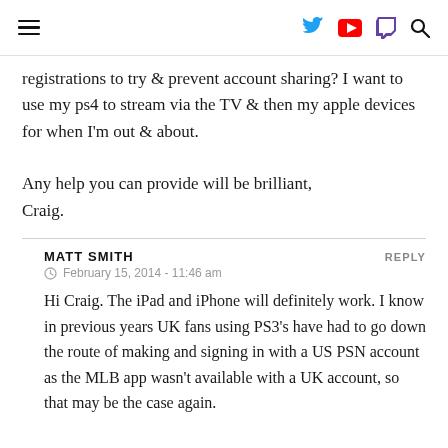≡ [Twitter] [YouTube] [Twitch] [Search]
registrations to try & prevent account sharing? I want to use my ps4 to stream via the TV & then my apple devices for when I'm out & about.
Any help you can provide will be brilliant,
Craig.
MATT SMITH
REPLY
February 15, 2014 - 11:46 am
Hi Craig. The iPad and iPhone will definitely work. I know in previous years UK fans using PS3's have had to go down the route of making and signing in with a US PSN account as the MLB app wasn't available with a UK account, so that may be the case again.